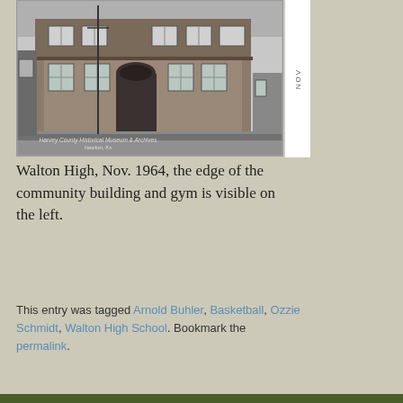[Figure (photo): Black and white photograph of Walton High School building exterior, November 1964. A large multi-story brick building with arched entrance. Text at bottom reads 'Harvey County Historical Museum & Archives, Newton, Ks'.]
Walton High, Nov. 1964, the edge of the community building and gym is visible on the left.
This entry was tagged Arnold Buhler, Basketball, Ozzie Schmidt, Walton High School. Bookmark the permalink.